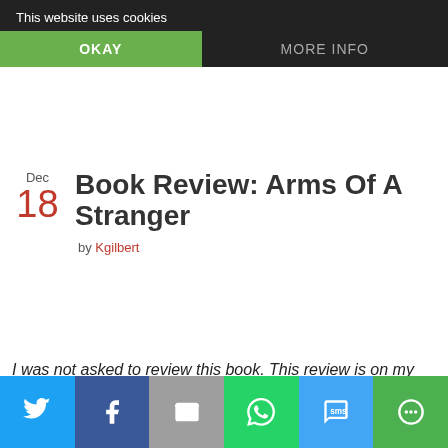This website uses cookies
OKAY
MORE INFO
Book Review: Arms Of A Stranger
by Kgilbert
I was not asked to review this book. This review is on my own accord and all opinions are my own.
[Figure (other): Broken image placeholder for book cover]
Social sharing bar: Twitter, Facebook, Email, WhatsApp, SMS, More